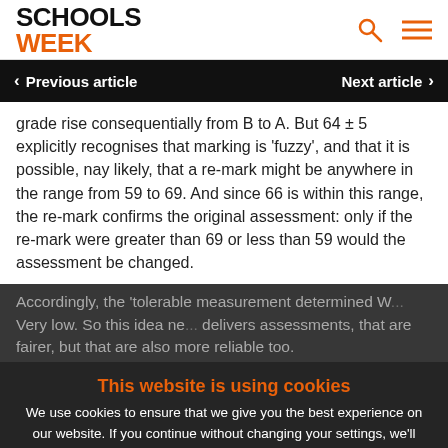SCHOOLS WEEK
< Previous article    Next article >
grade rise consequentially from B to A. But 64 ± 5 explicitly recognises that marking is 'fuzzy', and that it is possible, nay likely, that a re-mark might be anywhere in the range from 59 to 69. And since 66 is within this range, the re-mark confirms the original assessment: only if the re-mark were greater than 69 or less than 59 would the assessment be changed.
This website is using cookies
We use cookies to ensure that we give you the best experience on our website. If you continue without changing your settings, we'll assume that you are happy to receive all cookies on this website.
Accept    Learn More
Accordingly, the 'tolerable measurement determined W... Very low. So this idea ne... delivers assessments, that are fairer, but that are also more reliable too.
Showing assessments in the form of 64 ± 5 is not